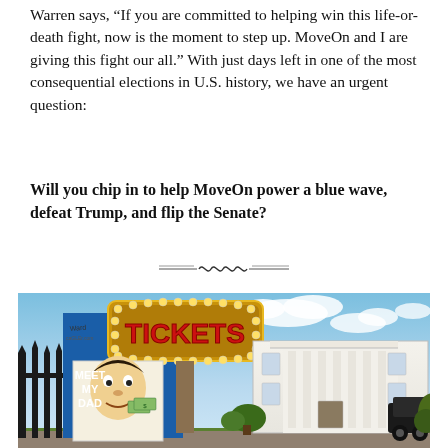Warren says, "If you are committed to helping win this life-or-death fight, now is the moment to step up. MoveOn and I are giving this fight our all." With just days left in one of the most consequential elections in U.S. history, we have an urgent question:
Will you chip in to help MoveOn power a blue wave, defeat Trump, and flip the Senate?
[Figure (illustration): Political cartoon showing a carnival-style TICKETS sign with bulb lights in front of what appears to be the White House. A poster shows a caricature of a man with money. A blue wall on the left has text 'MEET MY DAD'. Artist signature visible in top-left corner.]